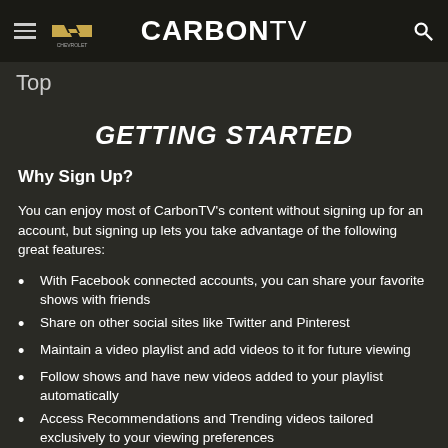CARBONTV (with Chevrolet logo, hamburger menu, and search icon)
Top
GETTING STARTED
Why Sign Up?
You can enjoy most of CarbonTV's content without signing up for an account, but signing up lets you take advantage of the following great features:
With Facebook connected accounts, you can share your favorite shows with friends
Share on other social sites like Twitter and Pinterest
Maintain a video playlist and add videos to it for future viewing
Follow shows and have new videos added to your playlist automatically
Access Recommendations and Trending videos tailored exclusively to your viewing preferences
A CarbonTV account is also necessary to access any content intended for mature audiences.